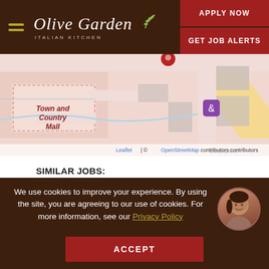Olive Garden Italian Kitchen | APPLY NOW | GET JOB ALERTS
[Figure (map): Street map showing Town and Country Mall area with a location pin, shopping bag marker, and surrounding roads. Attribution: Leaflet | © OpenStreetMap contributors]
SIMILAR JOBS:
SERVER
4801 W 77tH,Burbank, IL
View Details and Apply.
We use cookies to improve your experience. By using the site, you are agreeing to our use of cookies. For more information, see our Privacy Policy
ACCEPT